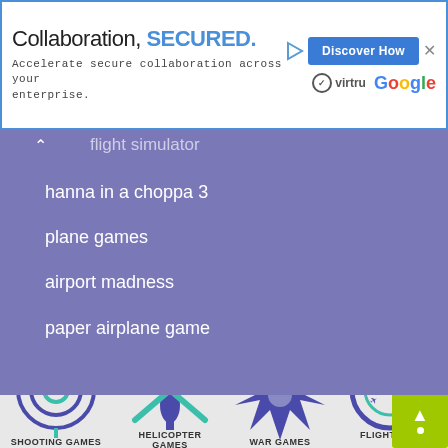[Figure (screenshot): Advertisement banner: 'Collaboration, SECURED.' with Discover How button, virtru and Google logos]
flight simulator
hanna in a choppa 3
plane games
airport madness
paper airplane game
[Figure (illustration): Game category icons: Shooting Games (target/crosshair), Helicopter Games (helicopter with X), War Games (explosion), Flight Control (radar/gauge)]